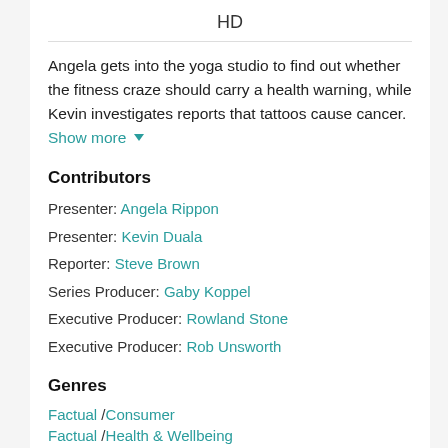HD
Angela gets into the yoga studio to find out whether the fitness craze should carry a health warning, while Kevin investigates reports that tattoos cause cancer. Show more ▼
Contributors
Presenter: Angela Rippon
Presenter: Kevin Duala
Reporter: Steve Brown
Series Producer: Gaby Koppel
Executive Producer: Rowland Stone
Executive Producer: Rob Unsworth
Genres
Factual / Consumer
Factual / Health & Wellbeing
Formats